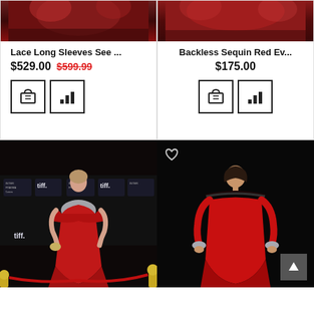[Figure (photo): Cropped top of red dress product photo - lace dress]
Lace Long Sleeves See ...
$529.00  $599.99
[Figure (screenshot): Add to cart button and stats button icons]
[Figure (photo): Cropped top of red sequin dress product photo]
Backless Sequin Red Ev...
$175.00
[Figure (screenshot): Add to cart button and stats button icons]
[Figure (photo): Woman in red lace mermaid gown at TIFF red carpet event with gold rope barriers]
[Figure (photo): Woman in red off-shoulder mermaid gown on black background with heart icon and scroll-up button]